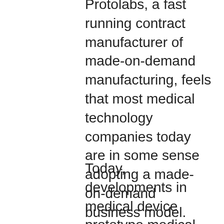Protolabs, a fast running contract manufacturer of made-on-demand manufacturing, feels that most medical technology companies today are in some sense adopting a made-on-demand business model. "Companies such as Qosina or other parts-only agents, for example, put parts into inventory quantities that make it easy for technical engineers to acquire and use the parts to design solutions. There is no minimum order information requirement for customers, and this is an on-demand manufacturing (ODM) approach that has been in place for many years," Annie Cashman said.
Today, developments in medical device prototype medical technology prototyping have contributed to a new trend in process manufacturing, Cashman says of prototyping, "There have been a lot of shifts, but the